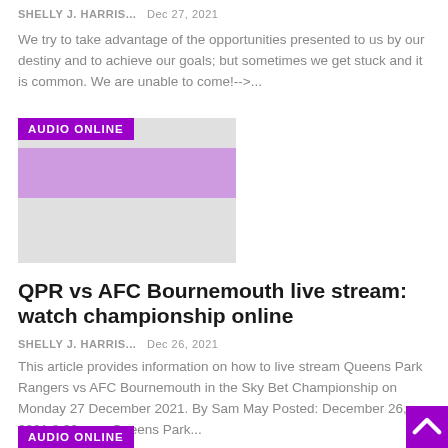SHELLY J. HARRIS...   Dec 27, 2021
We try to take advantage of the opportunities presented to us by our destiny and to achieve our goals; but sometimes we get stuck and it is common. We are unable to come!-->...
[Figure (other): Thumbnail image with purple AUDIO ONLINE badge overlay on a light grey rectangle]
QPR vs AFC Bournemouth live stream: watch championship online
SHELLY J. HARRIS...   Dec 26, 2021
This article provides information on how to live stream Queens Park Rangers vs AFC Bournemouth in the Sky Bet Championship on Monday 27 December 2021. By Sam May Posted: December 26, 2021 8:30 p.m. Queens Park...
[Figure (other): Partial purple AUDIO ONLINE badge at bottom of page]